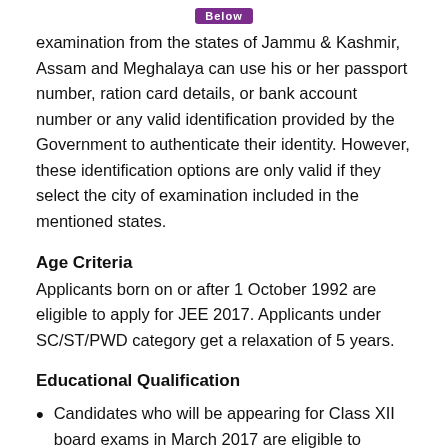examination from the states of Jammu & Kashmir, Assam and Meghalaya can use his or her passport number, ration card details, or bank account number or any valid identification provided by the Government to authenticate their identity. However, these identification options are only valid if they select the city of examination included in the mentioned states.
Age Criteria
Applicants born on or after 1 October 1992 are eligible to apply for JEE 2017. Applicants under SC/ST/PWD category get a relaxation of 5 years.
Educational Qualification
Candidates who will be appearing for Class XII board exams in March 2017 are eligible to appear for JEE Main